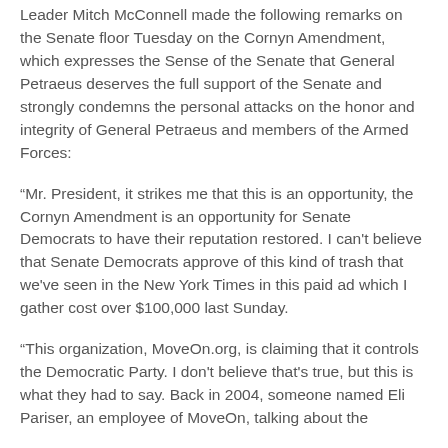Leader Mitch McConnell made the following remarks on the Senate floor Tuesday on the Cornyn Amendment, which expresses the Sense of the Senate that General Petraeus deserves the full support of the Senate and strongly condemns the personal attacks on the honor and integrity of General Petraeus and members of the Armed Forces:
“Mr. President, it strikes me that this is an opportunity, the Cornyn Amendment is an opportunity for Senate Democrats to have their reputation restored. I can’t believe that Senate Democrats approve of this kind of trash that we’ve seen in the New York Times in this paid ad which I gather cost over $100,000 last Sunday.
“This organization, MoveOn.org, is claiming that it controls the Democratic Party. I don’t believe that’s true, but this is what they had to say. Back in 2004, someone named Eli Pariser, an employee of MoveOn, talking about the